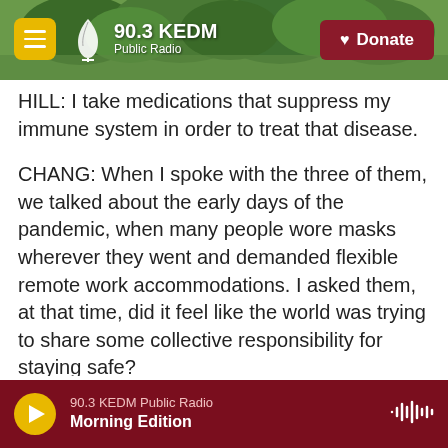90.3 KEDM Public Radio — Donate
HILL: I take medications that suppress my immune system in order to treat that disease.
CHANG: When I spoke with the three of them, we talked about the early days of the pandemic, when many people wore masks wherever they went and demanded flexible remote work accommodations. I asked them, at that time, did it feel like the world was trying to share some collective responsibility for staying safe?
JAE: This is Johnnie, by the way. It did feel a little less lonely. And also, there was a lot of resentment
90.3 KEDM Public Radio — Morning Edition